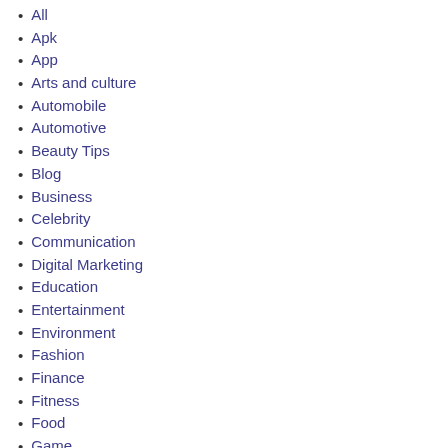All
Apk
App
Arts and culture
Automobile
Automotive
Beauty Tips
Blog
Business
Celebrity
Communication
Digital Marketing
Education
Entertainment
Environment
Fashion
Finance
Fitness
Food
Game
Health
Home Improvement
Law